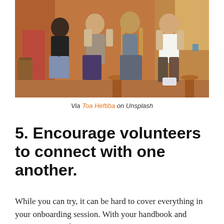[Figure (photo): Four young people sitting together on a ledge or bench in a warm-toned indoor/outdoor setting with wooden furniture and orange/terracotta walls.]
Via Toa Heftiba on Unsplash
5. Encourage volunteers to connect with one another.
While you can try, it can be hard to cover everything in your onboarding session. With your handbook and training materials